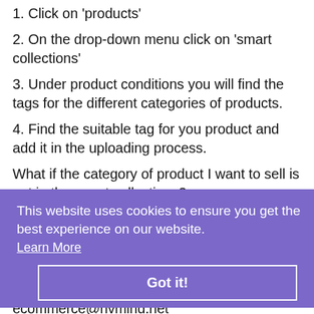1. Click on 'products'
2. On the drop-down menu click on 'smart collections'
3. Under product conditions you will find the tags for the different categories of products.
4. Find the suitable tag for you product and add it in the uploading process.
What if the category of product I want to sell is not in the smart collections?
In this case, you can still add the product. We will create a new collections within 24 hours from the upload of the product.
For any question or inquiry email us at:
ecommerce@nvmind.net
We want to help international sellers to pass this period of international crisis.
This website uses cookies to ensure you get the best experience on our website.
Learn More
Got it!